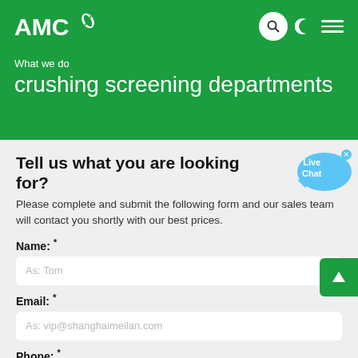AMC
What we do
crushing screening departments
Tell us what you are looking for?
Please complete and submit the following form and our sales team will contact you shortly with our best prices.
Name: *
As: Tom
Email: *
As: vip@shanghaimeilan.com
Phone: *
With Country Code